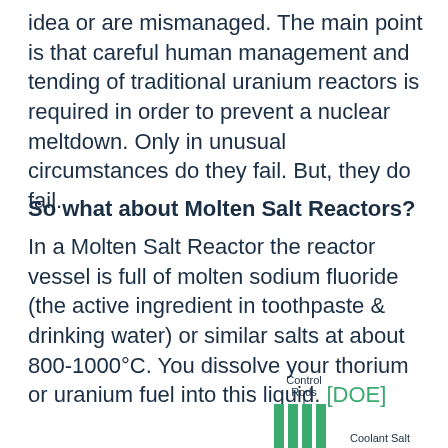idea or are mismanaged. The main point is that careful human management and tending of traditional uranium reactors is required in order to prevent a nuclear meltdown. Only in unusual circumstances do they fail. But, they do fail.
So what about Molten Salt Reactors?
In a Molten Salt Reactor the reactor vessel is full of molten sodium fluoride (the active ingredient in toothpaste & drinking water) or similar salts at about 800-1000°C. You dissolve your thorium or uranium fuel into this liquid. [DOE]
[Figure (schematic): Partial diagram of a Molten Salt Reactor showing Control Rods (green vertical bars) at top and a Coolant Salt label at bottom right]